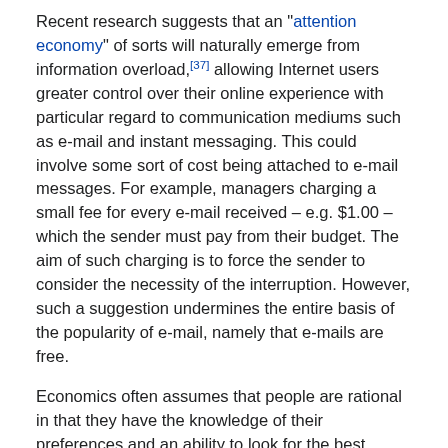Recent research suggests that an "attention economy" of sorts will naturally emerge from information overload,[37] allowing Internet users greater control over their online experience with particular regard to communication mediums such as e-mail and instant messaging. This could involve some sort of cost being attached to e-mail messages. For example, managers charging a small fee for every e-mail received – e.g. $1.00 – which the sender must pay from their budget. The aim of such charging is to force the sender to consider the necessity of the interruption. However, such a suggestion undermines the entire basis of the popularity of e-mail, namely that e-mails are free.
Economics often assumes that people are rational in that they have the knowledge of their preferences and an ability to look for the best possible ways to maximize his preferences. People are seen as selfish and focus on what pleases them. Looking at various parts on their own, results in the negligence of the other parts that work alongside it that create the effect of IO. Lincoln suggests possible ways to look at IO in a more holistic approach by recognizing the many possible factors that play a role in IO and how they work together to achieve IO.[28]